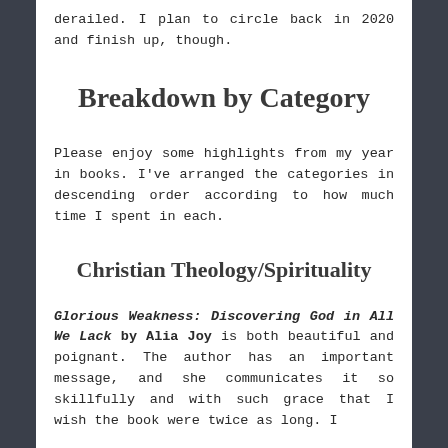derailed. I plan to circle back in 2020 and finish up, though.
Breakdown by Category
Please enjoy some highlights from my year in books. I've arranged the categories in descending order according to how much time I spent in each.
Christian Theology/Spirituality
Glorious Weakness: Discovering God in All We Lack by Alia Joy is both beautiful and poignant. The author has an important message, and she communicates it so skillfully and with such grace that I wish the book were twice as long. I